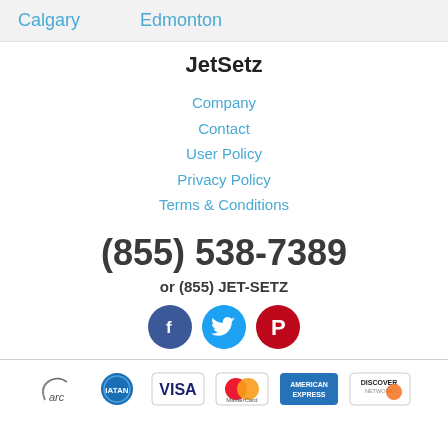Calgary   Edmonton
JetSetz
Company
Contact
User Policy
Privacy Policy
Terms & Conditions
(855) 538-7389
or (855) JET-SETZ
[Figure (infographic): Social media icons: Facebook (blue circle with f), Twitter (light blue circle with bird), Pinterest (red circle with P)]
[Figure (infographic): Payment provider logos: arc, IATAN, VISA, MasterCard, American Express, Discover]